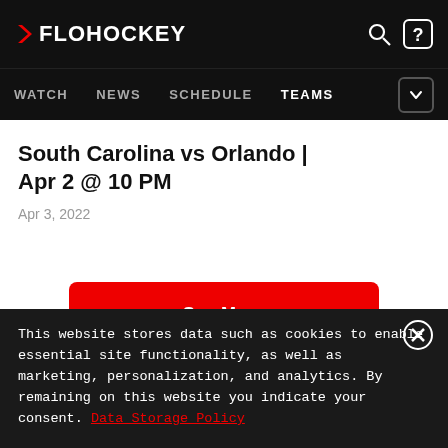FloHockey — WATCH | NEWS | SCHEDULE | TEAMS
South Carolina vs Orlando | Apr 2 @ 10 PM
Apr 3, 2022
See More
This website stores data such as cookies to enable essential site functionality, as well as marketing, personalization, and analytics. By remaining on this website you indicate your consent. Data Storage Policy